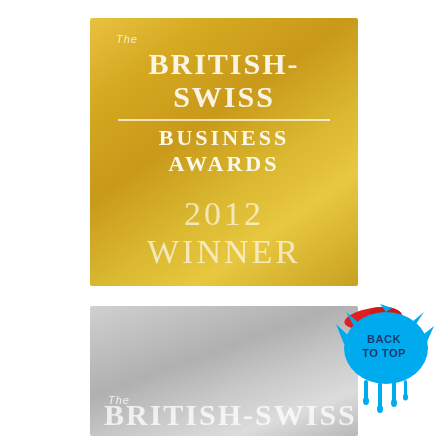[Figure (logo): Gold British-Swiss Business Awards 2012 Winner badge/plaque with gold metallic background, white text reading 'The BRITISH-SWISS BUSINESS AWARDS 2012 WINNER']
[Figure (logo): Silver/grey British-Swiss Business Awards badge showing 'The BRITISH-SWISS' text with silver metallic background]
[Figure (illustration): Blue and red paint splash button with text 'BACK TO TOP' with paint drip effect]